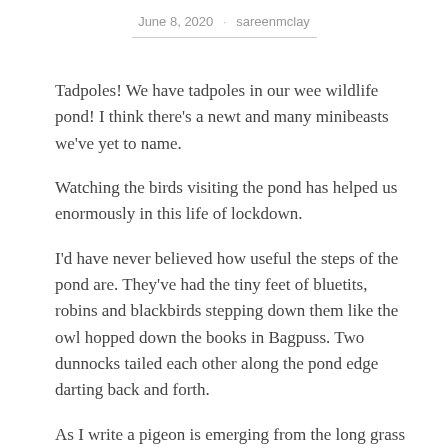June 8, 2020 · sarecnmclay
Tadpoles! We have tadpoles in our wee wildlife pond! I think there's a newt and many minibeasts we've yet to name.
Watching the birds visiting the pond has helped us enormously in this life of lockdown.
I'd have never believed how useful the steps of the pond are. They've had the tiny feet of bluetits, robins and blackbirds stepping down them like the owl hopped down the books in Bagpuss. Two dunnocks tailed each other along the pond edge darting back and forth.
As I write a pigeon is emerging from the long grass beside the pond, waddling about, ducking its head watching